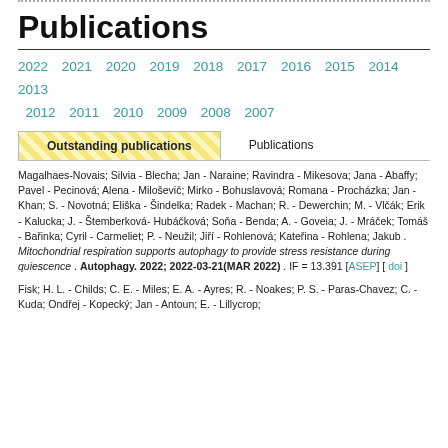……………………………………………………………………………………………
Publications
2022 2021 2020 2019 2018 2017 2016 2015 2014 2013 2012 2011 2010 2009 2008 2007
Outstanding publications | Publications
Magalhaes-Novais; Silvia - Blecha; Jan - Naraine; Ravindra - Mikesova; Jana - Abaffy; Pavel - Pecinová; Alena - Miloševič; Mirko - Bohuslavová; Romana - Procházka; Jan - Khan; S. - Novotná; Eliška - Šindelka; Radek - Machan; R. - Dewerchin; M. - Vlčák; Erik - Kalucka; J. - Štemberková-Hubáčková; Soňa - Benda; A. - Goveia; J. - Mráček; Tomáš - Bařinka; Cyril - Carmeliet; P. - Neužil; Jiří - Rohlenová; Kateřina - Rohlena; Jakub . Mitochondrial respiration supports autophagy to provide stress resistance during quiescence . Autophagy. 2022; 2022-03-21(MAR 2022) . IF = 13.391 [ASEP] [ doi ]
Fisk; H. L. - Childs; C. E. - Miles; E. A. - Ayres; R. - Noakes; P. S. - Paras-Chavez; C. - Kuda; Ondřej - Kopecký; Jan - Antoun; E. - Lillycrop;